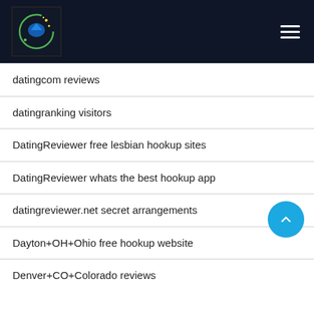[Figure (logo): Website logo with circular icon containing a bird/arrow graphic with green and blue colors on dark background]
datingcom reviews
datingranking visitors
DatingReviewer free lesbian hookup sites
DatingReviewer whats the best hookup app
datingreviewer.net secret arrangements
Dayton+OH+Ohio free hookup website
Denver+CO+Colorado reviews